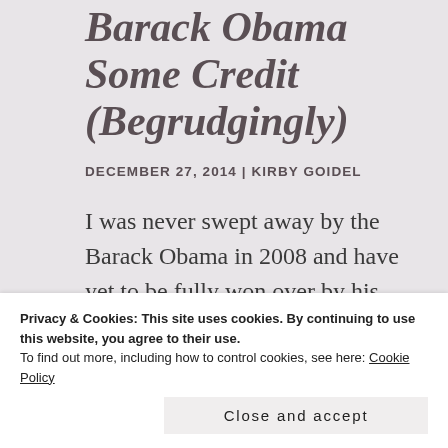Barack Obama Some Credit (Begrudgingly)
DECEMBER 27, 2014 | KIRBY GOIDEL
I was never swept away by the Barack Obama in 2008 and have yet to be fully won over by his presidency. He is too aloof, too impersonal. Even when he gets the
washington's dysfunction and
Privacy & Cookies: This site uses cookies. By continuing to use this website, you agree to their use.
To find out more, including how to control cookies, see here: Cookie Policy
Close and accept